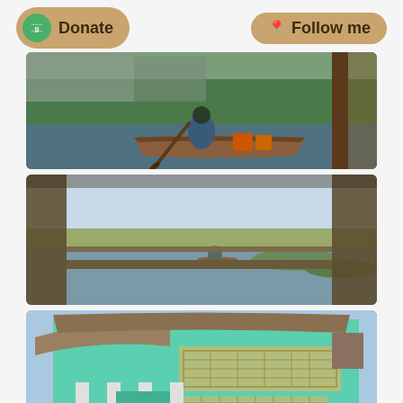[Figure (other): Donate button with green logo circle on left and Follow me button with pin icon on right, both pill-shaped in tan/brown color]
[Figure (photo): Person paddling a wooden canoe on a river with green vegetation and buildings in background]
[Figure (photo): View from a wooden porch/dock over a wide river with another boat paddling in the distance, green water vegetation and clear blue sky]
[Figure (photo): Two-story building with thatched roof, teal/turquoise painted walls and lattice balcony railings, with white columns at entrance]